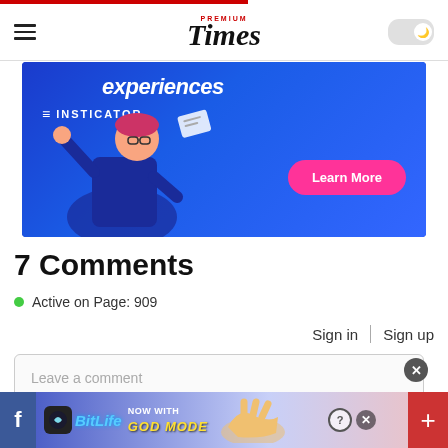Premium Times
[Figure (illustration): Insticator advertisement banner showing animated person with 'experiences' text and 'Learn More' button on blue background]
7 Comments
Active on Page: 909
Sign in | Sign up
Leave a comment
[Figure (illustration): BitLife 'Now With God Mode' advertisement banner at the bottom of the page]